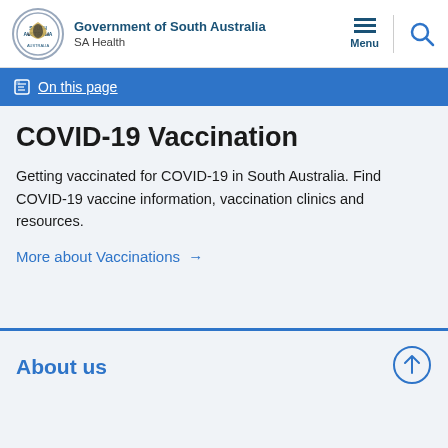Government of South Australia – SA Health
On this page
COVID-19 Vaccination
Getting vaccinated for COVID-19 in South Australia. Find COVID-19 vaccine information, vaccination clinics and resources.
More about Vaccinations →
About us